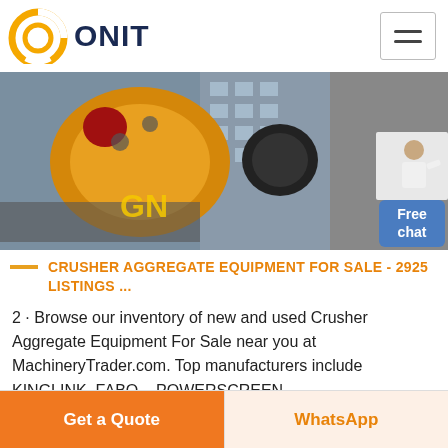ONIT
[Figure (photo): Industrial crusher aggregate equipment - large yellow cylindrical drum machinery being transported, with GN logo overlay, building in background]
CRUSHER AGGREGATE EQUIPMENT FOR SALE - 2925 LISTINGS ...
2 · Browse our inventory of new and used Crusher Aggregate Equipment For Sale near you at MachineryTrader.com. Top manufacturers include KINGLINK, FABO, , POWERSCREEN, ...